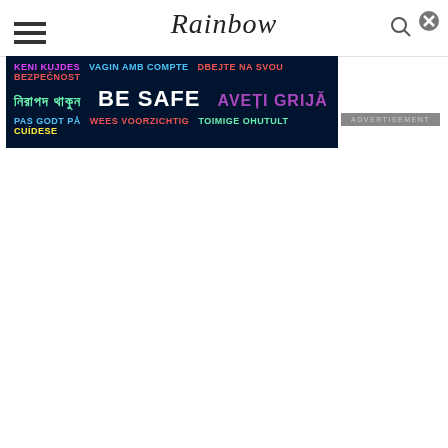Rainbow
[Figure (infographic): Safety advertisement banner with multilingual 'BE SAFE' message on dark navy background. Text includes: KENI KUJDES, VAGIN AMB COMPTE, DBEJTE NA SVOU BEZPEČNOST, নিরাপদ থাকুন, BE SAFE, AVEȚI GRIJĂ, PAS GODT PÅ, WEES VOORZICHTIG, TOIMIGE OHUTULT, CUÍDESE]
ADVERTISEMENT